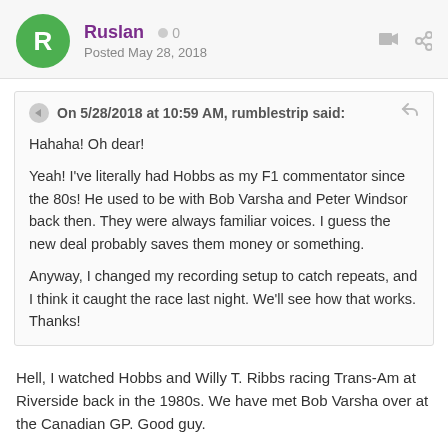Ruslan  ● 0
Posted May 28, 2018
On 5/28/2018 at 10:59 AM, rumblestrip said:
Hahaha! Oh dear!
Yeah! I've literally had Hobbs as my F1 commentator since the 80s! He used to be with Bob Varsha and Peter Windsor back then. They were always familiar voices. I guess the new deal probably saves them money or something.
Anyway, I changed my recording setup to catch repeats, and I think it caught the race last night. We'll see how that works. Thanks!
Hell, I watched Hobbs and Willy T. Ribbs racing Trans-Am at Riverside back in the 1980s. We have met Bob Varsha over at the Canadian GP. Good guy.
Anyhow, I think Hobbs, Matchett and Will Buxton made up about as